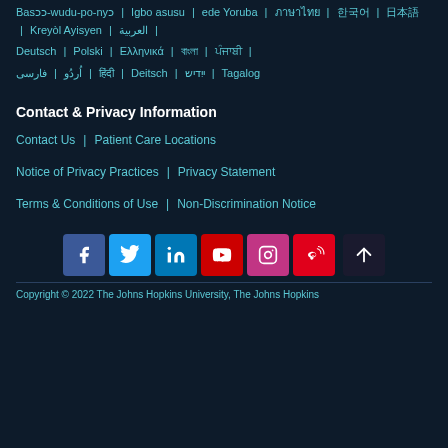Basɔɔ-wudu-po-nyɔ | Igbo asusu | ede Yoruba | ภาษาไทย | 한국어 | 日本語 | Kreyòl Ayisyen | العربية
Deutsch | Polski | Ελληνικά | বাংলা | ਪੰਜਾਬੀ
اُردُو | فارسی | हिंदी | Deitsch | ייִדיש | Tagalog
Contact & Privacy Information
Contact Us | Patient Care Locations
Notice of Privacy Practices | Privacy Statement
Terms & Conditions of Use | Non-Discrimination Notice
[Figure (other): Social media icon buttons: Facebook, Twitter, LinkedIn, YouTube, Instagram, Weibo, and scroll-to-top button]
Copyright © 2022 The Johns Hopkins University, The Johns Hopkins